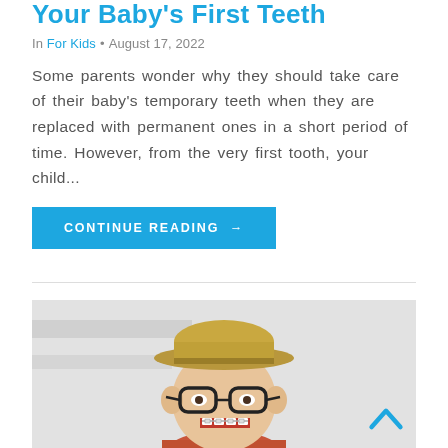Your Baby's First Teeth
In For Kids • August 17, 2022
Some parents wonder why they should take care of their baby's temporary teeth when they are replaced with permanent ones in a short period of time. However, from the very first tooth, your child...
CONTINUE READING →
[Figure (photo): A smiling child wearing a tan/khaki hat and black glasses with braces, laughing happily against a light background]